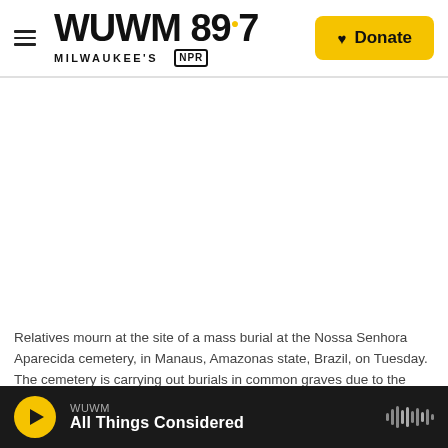WUWM 89.7 Milwaukee's NPR — Donate
[Figure (photo): Large photo area showing a mass burial site at Nossa Senhora Aparecida cemetery in Manaus, Brazil (image content not visible in render — white space)]
Relatives mourn at the site of a mass burial at the Nossa Senhora Aparecida cemetery, in Manaus, Amazonas state, Brazil, on Tuesday. The cemetery is carrying out burials in common graves due to the large number of deaths from COVID-19 disease, according to a cemetery
WUWM — All Things Considered